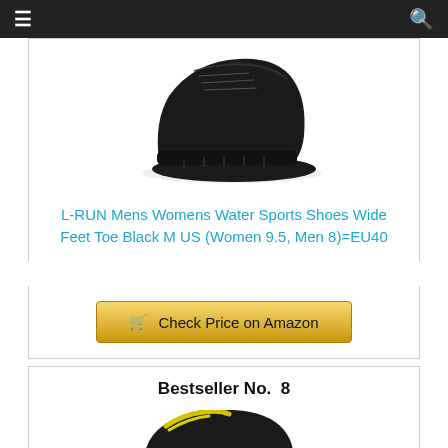[Figure (photo): Black minimalist water sports shoe / barefoot shoe viewed from above and side, showing lace-up design and toe-separated sole, on white background]
L-RUN Mens Womens Water Sports Shoes Wide Feet Toe Black M US (Women 9.5, Men 8)=EU40
Check Price on Amazon
Bestseller No. 8
[Figure (photo): Black and yellow water sports / barefoot shoe partially visible at bottom of page]